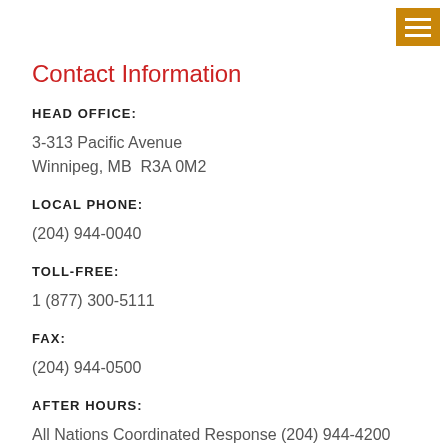Contact Information
HEAD OFFICE:
3-313 Pacific Avenue
Winnipeg, MB  R3A 0M2
LOCAL PHONE:
(204) 944-0040
TOLL-FREE:
1 (877) 300-5111
FAX:
(204) 944-0500
AFTER HOURS:
All Nations Coordinated Response (204) 944-4200